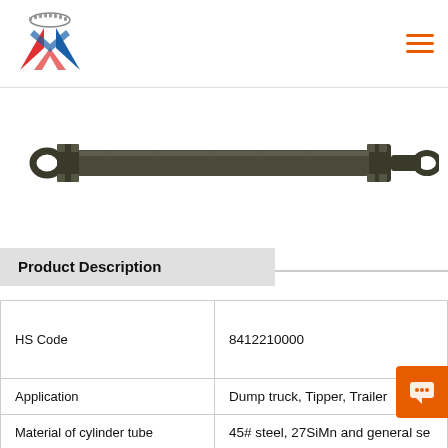Logo and navigation header
[Figure (photo): Hydraulic cylinder / telescopic cylinder — a long metallic cylindrical component with mounting hardware at both ends, shown horizontally against a white background]
Product Description
|  |  |
| --- | --- |
| HS Code | 8412210000 |
| Application | Dump truck, Tipper, Trailer |
| Material of cylinder tube | 45# steel, 27SiMn and general se… |
| Seal | Hallite, SKF, NOK, Guarnitec, Parker |